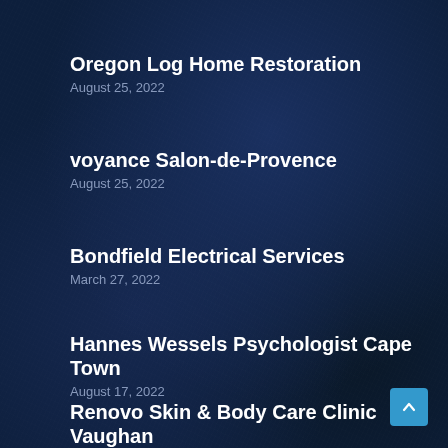Oregon Log Home Restoration
August 25, 2022
voyance Salon-de-Provence
August 25, 2022
Bondfield Electrical Services
March 27, 2022
Hannes Wessels Psychologist Cape Town
August 17, 2022
Renovo Skin & Body Care Clinic Vaughan
July 9, 2022